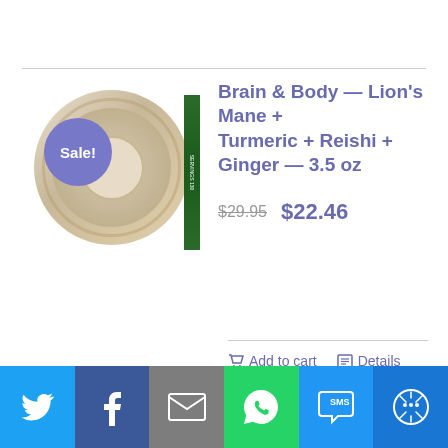[Figure (photo): Product image of Brain & Body supplement container with Sale! badge overlay and green label strip on side]
Brain & Body — Lion's Mane + Turmeric + Reishi + Ginger — 3.5 oz
$29.95  $22.46
Add to cart   Details
[Figure (photo): Partial product image for Brain Energy for Optimized Mental (cut off)]
Brain Energy for Optimized Mental
[Figure (infographic): Social sharing bar with Twitter, Facebook, Email, WhatsApp, SMS, and More buttons]